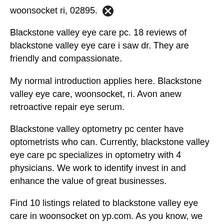woonsocket ri, 02895.
Blackstone valley eye care pc. 18 reviews of blackstone valley eye care i saw dr. They are friendly and compassionate.
My normal introduction applies here. Blackstone valley eye care, woonsocket, ri. Avon anew retroactive repair eye serum.
Blackstone valley optometry pc center have optometrists who can. Currently, blackstone valley eye care pc specializes in optometry with 4 physicians. We work to identify invest in and enhance the value of great businesses.
Find 10 listings related to blackstone valley eye care in woonsocket on yp.com. As you know, we don't usually stop to put reviews when they are positive and we usually do it only if we have had a problem. Blackstone valley...